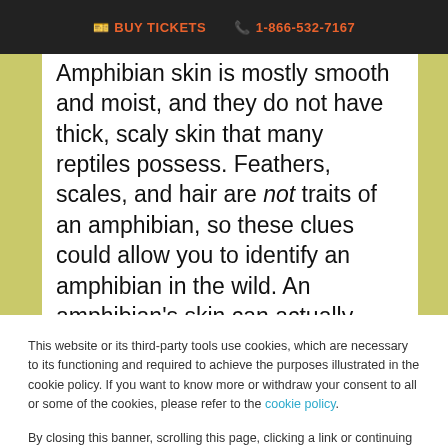BUY TICKETS   1-866-532-7167
Amphibian skin is mostly smooth and moist, and they do not have thick, scaly skin that many reptiles possess. Feathers, scales, and hair are not traits of an amphibian, so these clues could allow you to identify an amphibian in the wild. An amphibian's skin can actually easily dry out because it does not contain the protective covering that reptiles usually
This website or its third-party tools use cookies, which are necessary to its functioning and required to achieve the purposes illustrated in the cookie policy. If you want to know more or withdraw your consent to all or some of the cookies, please refer to the cookie policy.

By closing this banner, scrolling this page, clicking a link or continuing to browse otherwise, you agree to the use of cookies.